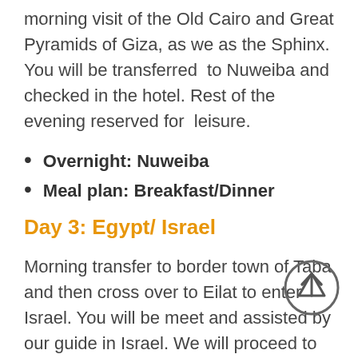morning visit of the Old Cairo and Great Pyramids of Giza, as we as the Sphinx. You will be transferred to Nuweiba and checked in the hotel. Rest of the evening reserved for leisure.
Overnight: Nuweiba
Meal plan: Breakfast/Dinner
Day 3: Egypt/ Israel
Morning transfer to border town of Taba and then cross over to Eilat to enter Israel. You will be meet and assisted by our guide in Israel. We will proceed to the city of Jericho, where we will able to